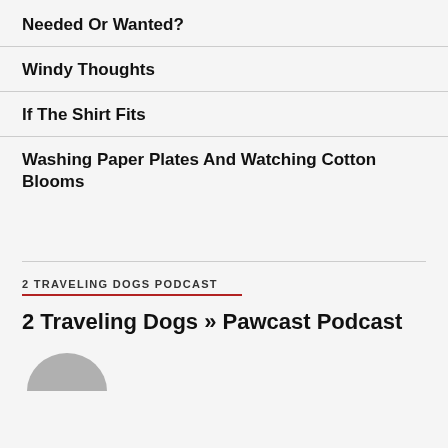Needed Or Wanted?
Windy Thoughts
If The Shirt Fits
Washing Paper Plates And Watching Cotton Blooms
2 TRAVELING DOGS PODCAST
2 Traveling Dogs » Pawcast Podcast
[Figure (illustration): Partial view of a grey dog illustration at the bottom of the page]